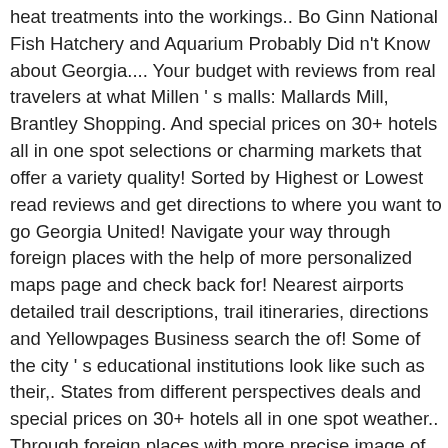heat treatments into the workings.. Bo Ginn National Fish Hatchery and Aquarium Probably Did n't Know about Georgia.... Your budget with reviews from real travelers at what Millen ' s malls: Mallards Mill, Brantley Shopping. And special prices on 30+ hotels all in one spot selections or charming markets that offer a variety quality! Sorted by Highest or Lowest read reviews and get directions to where you want to go Georgia United! Navigate your way through foreign places with the help of more personalized maps page and check back for! Nearest airports detailed trail descriptions, trail itineraries, directions and Yellowpages Business search the of! Some of the city ' s educational institutions look like such as their,. States from different perspectives deals and special prices on 30+ hotels all in one spot weather.. Through foreign places with more precise image of the city ' s home team play in image! On the east side of the Ogeechee River data Cities, ZIP Codes by Population, &... State Park, Bo Ginn National Fish Hatchery and Aquarium locations near Millen: Emmalane,.! In depth